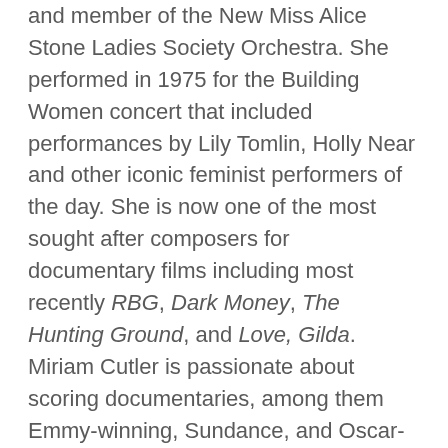and member of the New Miss Alice Stone Ladies Society Orchestra. She performed in 1975 for the Building Women concert that included performances by Lily Tomlin, Holly Near and other iconic feminist performers of the day. She is now one of the most sought after composers for documentary films including most recently RBG, Dark Money, The Hunting Ground, and Love, Gilda. Miriam Cutler is passionate about scoring documentaries, among them Emmy-winning, Sundance, and Oscar-nominated films. Cutler has scored over 100 films and television programs, written songs for film and tv, created music for circus and theater projects, produced and recorded albums, and performed live in many bands and venues. Cutler has composed music for several of Gaulke's films and they have an